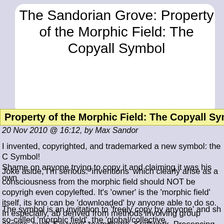The Sandorian Grove: Property of the Morphic Field: The Copyall Symbol
Property of the Morphic Field: The Copyall Symbol
20 Nov 2010 @ 16:12, by Max Sandor
I invented, copyrighted, and trademarked a new symbol: the C Symbol!
Shame on anyone trying to copy it and claiming it was his own
Joke aside, I'm serious: 'inventions' which clearly arise as a consciousness from the morphic field should NOT be copyrighted, even copylefted. It's 'owner' is the 'morphic field' itself, its know can be 'downloaded' by anyone able to do so. In especially, ab derived from methods involving group access, such 'Skywork' teamshape, Kraftwerk, Presencing (Scharmer), or Constellatio (Hellinger) are clearly 'authored' by collective consciousness a should not be usurped by a single person.
The symbol is an invitation to 'freely copy by anyone' and sha so-called 'morphic field', the 'global/collective consciousness', individual creativity, we could extend a copyall-notice to